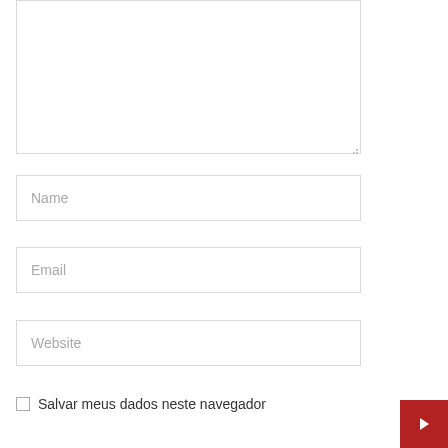[Figure (screenshot): A text area input box (empty, resizable) at the top of a web comment form]
Name
Email
Website
Salvar meus dados neste navegador
[Figure (other): Red square button with a right-pointing arrow icon in the bottom-right corner]